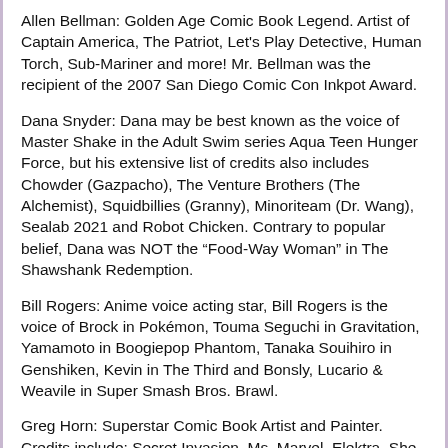Allen Bellman: Golden Age Comic Book Legend. Artist of Captain America, The Patriot, Let's Play Detective, Human Torch, Sub-Mariner and more! Mr. Bellman was the recipient of the 2007 San Diego Comic Con Inkpot Award.
Dana Snyder: Dana may be best known as the voice of Master Shake in the Adult Swim series Aqua Teen Hunger Force, but his extensive list of credits also includes Chowder (Gazpacho), The Venture Brothers (The Alchemist), Squidbillies (Granny), Minoriteam (Dr. Wang), Sealab 2021 and Robot Chicken. Contrary to popular belief, Dana was NOT the “Food-Way Woman” in The Shawshank Redemption.
Bill Rogers: Anime voice acting star, Bill Rogers is the voice of Brock in Pokémon, Touma Seguchi in Gravitation, Yamamoto in Boogiepop Phantom, Tanaka Souihiro in Genshiken, Kevin in The Third and Bonsly, Lucario & Weavile in Super Smash Bros. Brawl.
Greg Horn: Superstar Comic Book Artist and Painter. Credits include: Secret Invasion, Ms. Marvel, Elektra, She-Hulk, X-Man, Emma Frost, Wolverine, Namor, Spider-Man and more!